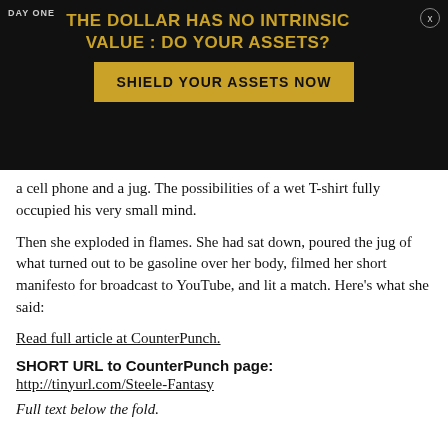[Figure (infographic): Advertisement overlay on dark background. Header text 'DAY ONE' on left, gold headline 'THE DOLLAR HAS NO INTRINSIC VALUE : DO YOUR ASSETS?', a gold 'SHIELD YOUR ASSETS NOW' button, close button (x) in top right, and partially obscured body text below.]
a cell phone and a jug. The possibilities of a wet T-shirt fully occupied his very small mind.
Then she exploded in flames. She had sat down, poured the jug of what turned out to be gasoline over her body, filmed her short manifesto for broadcast to YouTube, and lit a match. Here's what she said:
Read full article at CounterPunch.
SHORT URL to CounterPunch page:
http://tinyurl.com/Steele-Fantasy
Full text below the fold.